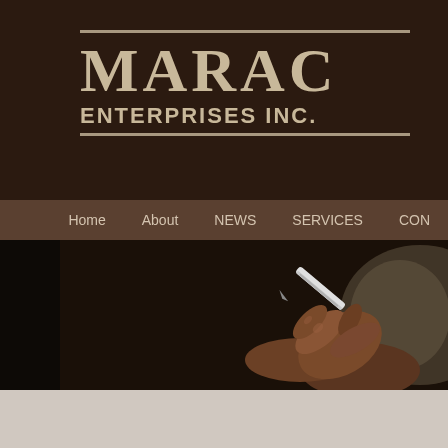[Figure (logo): MARAC ENTERPRISES INC. logo in cream/tan text on dark brown background with horizontal lines above and below]
Home   About   NEWS   SERVICES   CON...
[Figure (photo): A hand holding a pen, signing a document, dark background with blurred light on right side]